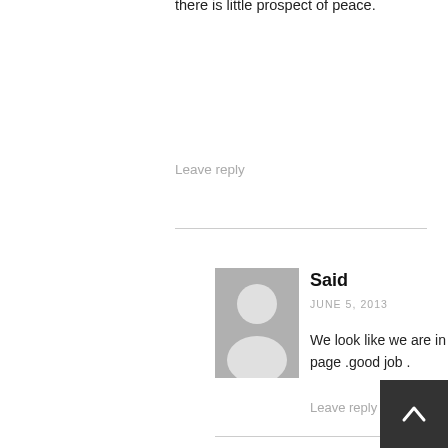waiting to be evicted from their land, there is little prospect of peace.
Leave reply
Said
JUNE 5, 2013
[Figure (illustration): Generic user avatar placeholder - gray circle and upper body silhouette on gray background]
We look like we are in the same page .good job .
Leave reply
Kalighe
JUNE 5, 2013
[Figure (illustration): Generic user avatar placeholder - gray circle and upper body silhouette on gray background]
May be on this issue, but on the ones that